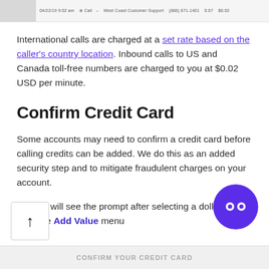[Figure (screenshot): Top strip showing a table row of a call log: date 04/22/19 9:02 am, Call type icon, dash, West Coast Customer Support, (888) 871-1401, 0:07, $0.02]
International calls are charged at a set rate based on the caller's country location. Inbound calls to US and Canada toll-free numbers are charged to you at $0.02 USD per minute.
Confirm Credit Card
Some accounts may need to confirm a credit card before calling credits can be added. We do this as an added security step and to mitigate fraudulent charges on your account.
Admins will see the prompt after selecting a dollar value from the Add Value menu
[Figure (logo): Purple circle logo with white double-quote or play icon marks inside]
[Figure (screenshot): Bottom card strip showing 'CONFIRM YOUR CREDIT CARD' text in light gray uppercase lettering on a white/light gray card background]